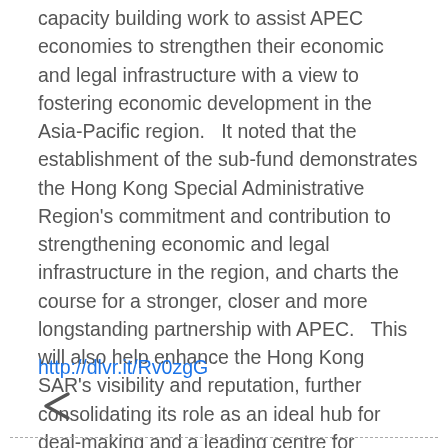capacity building work to assist APEC economies to strengthen their economic and legal infrastructure with a view to fostering economic development in the Asia-Pacific region.   It noted that the establishment of the sub-fund demonstrates the Hong Kong Special Administrative Region's commitment and contribution to strengthening economic and legal infrastructure in the region, and charts the course for a stronger, closer and more longstanding partnership with APEC.   This will also help enhance the Hong Kong SAR's visibility and reputation, further consolidating its role as an ideal hub for deal-making and a leading centre for international legal and dispute resolution services in the region and beyond, the department added.
http://dlvr.it/Rv0zgG
[Figure (other): Share icon (less-than symbol used as share button)]